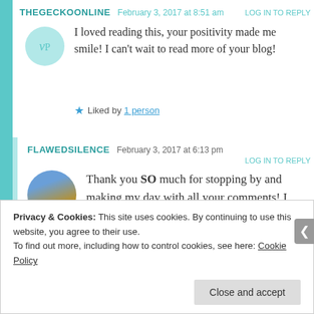THEGECKOONLINE   February 3, 2017 at 8:51 am   LOG IN TO REPLY
I loved reading this, your positivity made me smile! I can't wait to read more of your blog!
★ Liked by 1 person
FLAWEDSILENCE   February 3, 2017 at 6:13 pm   LOG IN TO REPLY
Thank you SO much for stopping by and making my day with all your comments! I hope you have a
Privacy & Cookies: This site uses cookies. By continuing to use this website, you agree to their use.
To find out more, including how to control cookies, see here: Cookie Policy